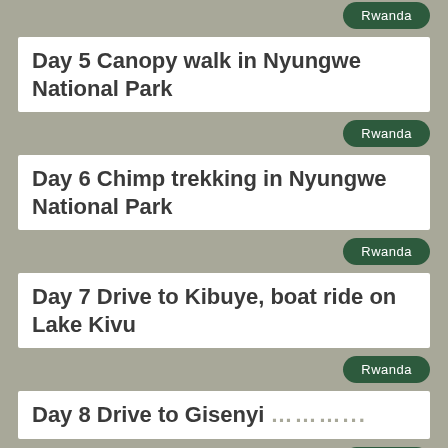Rwanda
Day 5 Canopy walk in Nyungwe National Park
Rwanda
Day 6 Chimp trekking in Nyungwe National Park
Rwanda
Day 7 Drive to Kibuye, boat ride on Lake Kivu
Rwanda
Day 8 Drive to Gisenyi .........
Rwanda
Day 9 Drive to Musanze, visit Gorilla Guardian Village
Rwanda
Day 10 Golden monkey